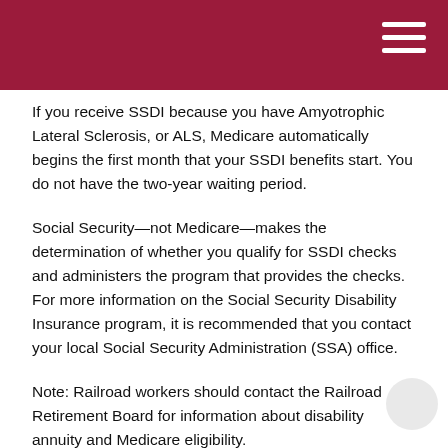If you receive SSDI because you have Amyotrophic Lateral Sclerosis, or ALS, Medicare automatically begins the first month that your SSDI benefits start. You do not have the two-year waiting period.
Social Security—not Medicare—makes the determination of whether you qualify for SSDI checks and administers the program that provides the checks. For more information on the Social Security Disability Insurance program, it is recommended that you contact your local Social Security Administration (SSA) office.
Note: Railroad workers should contact the Railroad Retirement Board for information about disability annuity and Medicare eligibility.